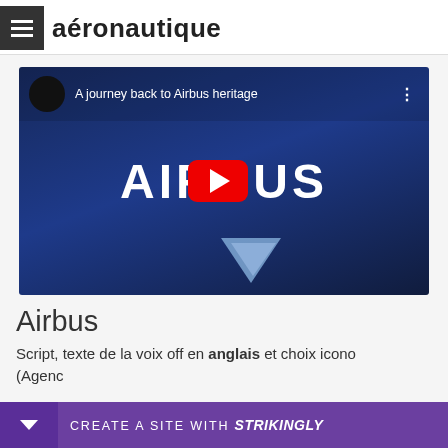aéronautique
[Figure (screenshot): YouTube video thumbnail for 'A journey back to Airbus heritage' showing Airbus logo on dark blue background with red YouTube play button in center]
Airbus
Script, texte de la voix off en anglais et choix icono
(Agenc
CREATE A SITE WITH strikingly